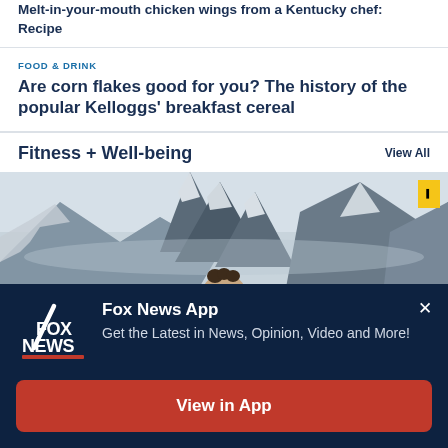Melt-in-your-mouth chicken wings from a Kentucky chef: Recipe
FOOD & DRINK
Are corn flakes good for you? The history of the popular Kelloggs' breakfast cereal
Fitness + Well-being
View All
[Figure (photo): Person peeking above frame in front of dramatic mountain peaks with snow and cloudy sky, with a National Geographic yellow rectangle badge in top right corner]
[Figure (infographic): Fox News App promotional modal overlay on dark navy background. Fox News logo on left, text reads 'Fox News App - Get the Latest in News, Opinion, Video and More!' with a red 'View in App' button and an X close button.]